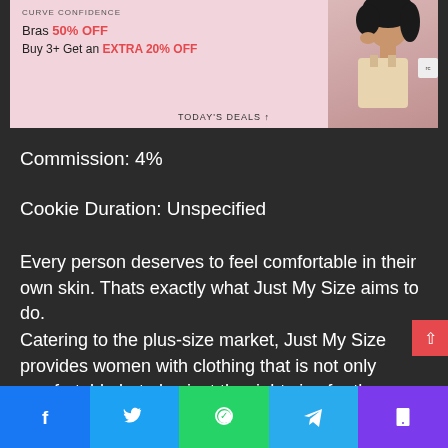[Figure (screenshot): Advertisement banner for Just My Size / Curve Confidence showing bras 50% OFF and Buy 3+ Get an EXTRA 20% OFF promotion, with a woman model and TODAY'S DEALS button]
Commission: 4%
Cookie Duration: Unspecified
Every person deserves to feel comfortable in their own skin. Thats exactly what Just My Size aims to do.
Catering to the plus-size market, Just My Size provides women with clothing that is not only comfortable but also just the right size for them.
You get a flat commission of 4% for every sale that goes
[Figure (screenshot): Social media sharing bar with Facebook, Twitter, WhatsApp, Telegram, and phone icons]